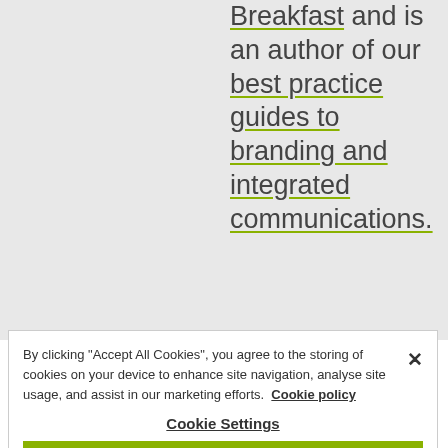Breakfast and is an author of our best practice guides to branding and integrated communications.
By clicking "Accept All Cookies", you agree to the storing of cookies on your device to enhance site navigation, analyse site usage, and assist in our marketing efforts. Cookie policy
Cookie Settings
Reject All
Accept All Cookies